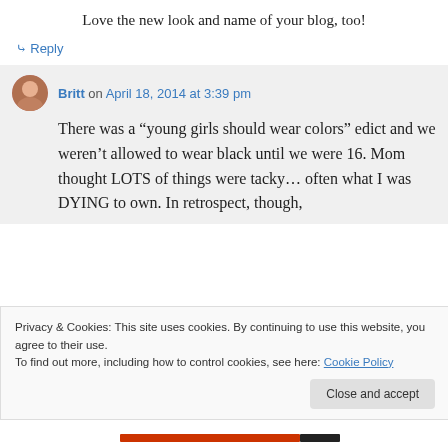Love the new look and name of your blog, too!
↳ Reply
Britt on April 18, 2014 at 3:39 pm
There was a “young girls should wear colors” edict and we weren’t allowed to wear black until we were 16. Mom thought LOTS of things were tacky… often what I was DYING to own. In retrospect, though,
Privacy & Cookies: This site uses cookies. By continuing to use this website, you agree to their use.
To find out more, including how to control cookies, see here: Cookie Policy
Close and accept